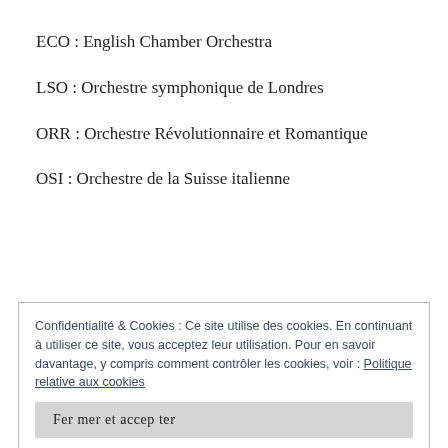ECO : English Chamber Orchestra
LSO : Orchestre symphonique de Londres
ORR : Orchestre Révolutionnaire et Romantique
OSI : Orchestre de la Suisse italienne
Confidentialité & Cookies : Ce site utilise des cookies. En continuant à utiliser ce site, vous acceptez leur utilisation. Pour en savoir davantage, y compris comment contrôler les cookies, voir : Politique relative aux cookies
Fermer et accepter